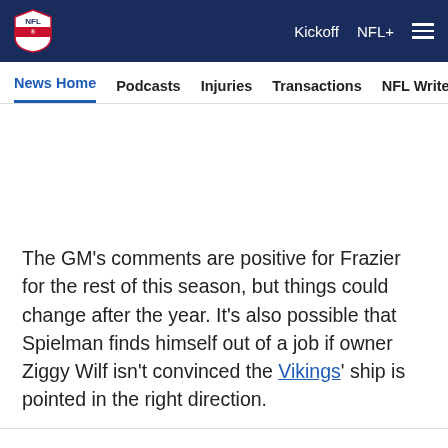NFL | Kickoff  NFL+  ≡
News Home  Podcasts  Injuries  Transactions  NFL Writers  Se
The GM's comments are positive for Frazier for the rest of this season, but things could change after the year. It's also possible that Spielman finds himself out of a job if owner Ziggy Wilf isn't convinced the Vikings' ship is pointed in the right direction.
[Figure (other): Social share icons: Facebook, Twitter, Email, Link]